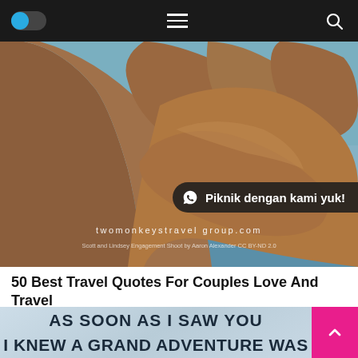[Navigation bar with toggle, hamburger menu, and search icon]
[Figure (photo): Close-up photo of two hands holding together at a beach, showing rings on fingers, with ocean/sky in background. Overlay shows WhatsApp button 'Piknik dengan kami yuk!', site URL 'twomonkeystravel.com', and photo credit 'Scott and Lindsey Engagement Shoot by Aaron Alexander CC BY-ND 2.0']
50 Best Travel Quotes For Couples Love And Travel
[Figure (infographic): Quote card with light blue/grey gradient background showing text 'AS SOON AS I SAW YOU' and 'I KNEW A GRAND ADVENTURE WAS' in bold dark uppercase letters]